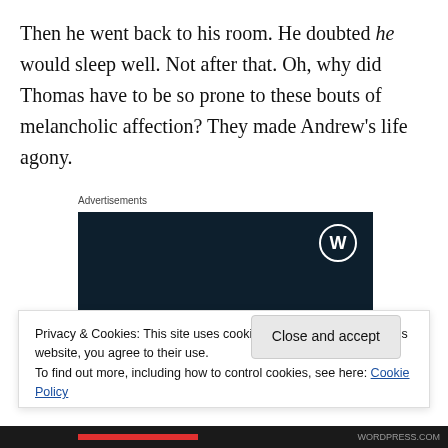Then he went back to his room. He doubted he would sleep well. Not after that. Oh, why did Thomas have to be so prone to these bouts of melancholic affection? They made Andrew's life agony.
Advertisements
[Figure (other): WordPress advertisement banner with dark navy background showing WordPress logo, text 'Opinions.' and 'We all have them!']
Privacy & Cookies: This site uses cookies. By continuing to use this website, you agree to their use.
To find out more, including how to control cookies, see here: Cookie Policy